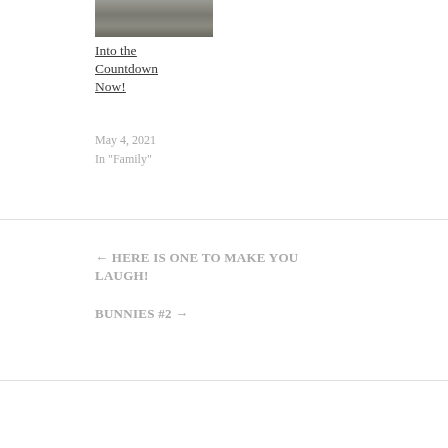[Figure (photo): Small thumbnail image, appears to show a curtain or fabric, dark grayish tones]
Into the Countdown Now!
May 4, 2021
In "Family"
← HERE IS ONE TO MAKE YOU LAUGH!
BUNNIES #2 →